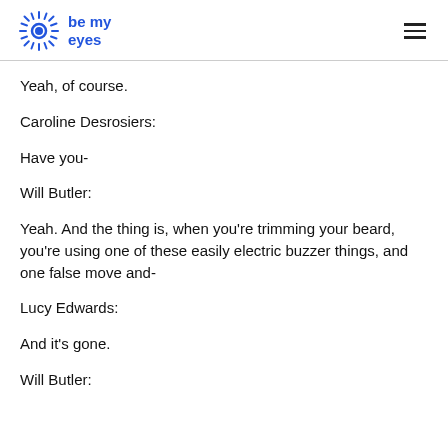be my eyes
Yeah, of course.
Caroline Desrosiers:
Have you-
Will Butler:
Yeah. And the thing is, when you're trimming your beard, you're using one of these easily electric buzzer things, and one false move and-
Lucy Edwards:
And it's gone.
Will Butler: